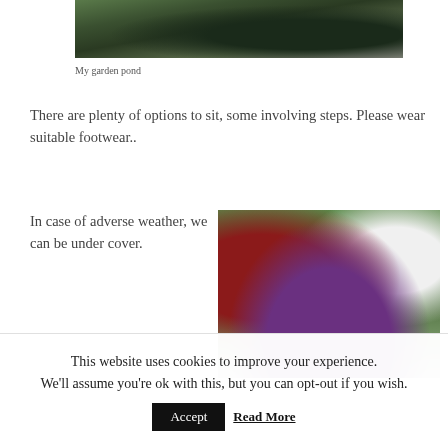[Figure (photo): Garden pond photo showing water, reeds and plants at the top]
My garden pond
There are plenty of options to sit, some involving steps. Please wear suitable footwear..
In case of adverse weather, we can be under cover.
[Figure (photo): Garden photo showing colourful flowers, shrubs and a bird bath]
This website uses cookies to improve your experience. We'll assume you're ok with this, but you can opt-out if you wish. Accept Read More